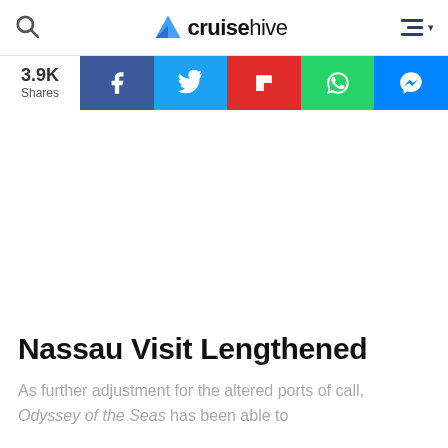cruisehive
[Figure (infographic): Social share bar showing 3.9K Shares with Facebook, Twitter, Flipboard, WhatsApp, and Messenger buttons]
Nassau Visit Lengthened
As further adjustment for the altered ports of call, Odyssey of the Seas has been able to